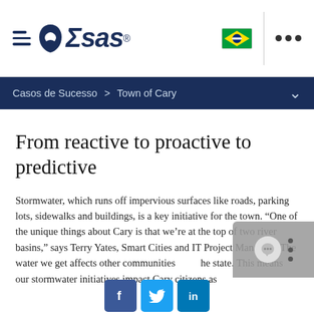SAS logo header with hamburger menu, Brazil flag, vertical divider, and ellipsis menu
Casos de Sucesso > Town of Cary
From reactive to proactive to predictive
Stormwater, which runs off impervious surfaces like roads, parking lots, sidewalks and buildings, is a key initiative for the town. “One of the unique things about Cary is that we’re at the top of two river basins,” says Terry Yates, Smart Cities and IT Project Manager. “The water we get affects other communities … he state. This means our stormwater initiatives impact Cary citizens as